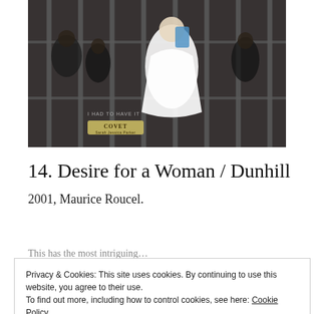[Figure (photo): A photo showing people behind metal cage bars; one figure in white clothing stands out prominently. Text overlay reads 'I HAD TO HAVE IT' and a label reads 'COVET Sarah Jessica Parker'.]
14. Desire for a Woman / Dunhill
2001, Maurice Roucel.
This has the most intriguing…
Privacy & Cookies: This site uses cookies. By continuing to use this website, you agree to their use.
To find out more, including how to control cookies, see here: Cookie Policy
a sharp, spicy, citrusy, licorice floriental. I also bought